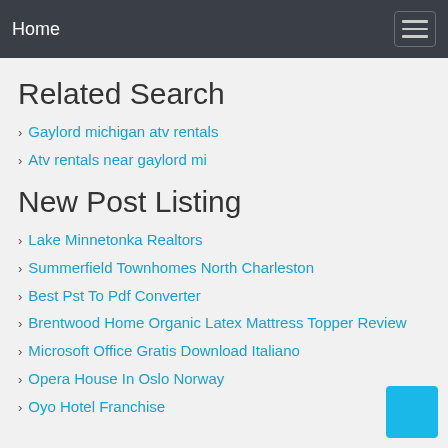Home
Related Search
Gaylord michigan atv rentals
Atv rentals near gaylord mi
New Post Listing
Lake Minnetonka Realtors
Summerfield Townhomes North Charleston
Best Pst To Pdf Converter
Brentwood Home Organic Latex Mattress Topper Review
Microsoft Office Gratis Download Italiano
Opera House In Oslo Norway
Oyo Hotel Franchise